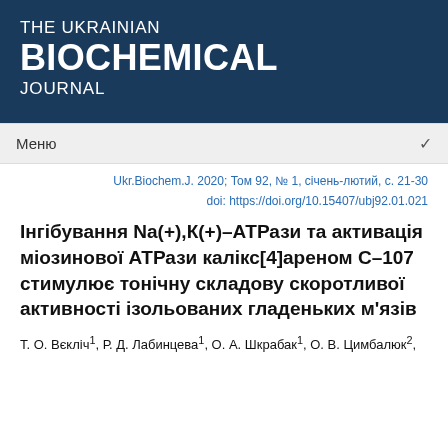THE UKRAINIAN BIOCHEMICAL JOURNAL
Меню
Ukr.Biochem.J. 2020; Том 92, № 1, січень-лютий, с. 21-30
doi: https://doi.org/10.15407/ubj92.01.021
Інгібування Na(+),К(+)-АТРази та активація міозинової АТРази калікс[4]ареном С-107 стимулює тонічну складову скоротливої активності ізольованих гладеньких м'язів
Т. О. Вєкліч¹, Р. Д. Лабинцева¹, О. А. Шкрабак¹, О. В. Цимбалюк²,